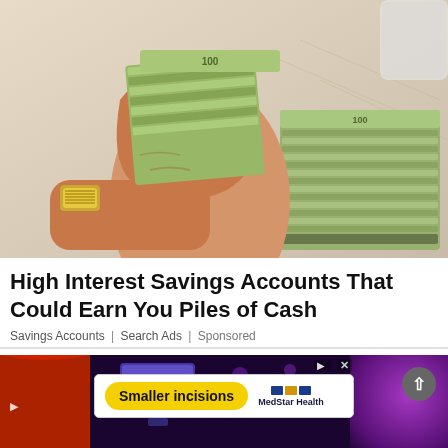[Figure (photo): A hand wearing a gold watch holding a large stack of US dollar bills (cash), with more stacks of money in the background on a white surface.]
High Interest Savings Accounts That Could Earn You Piles of Cash
Savings Accounts | Search Ads | Sponsored
[Figure (screenshot): A dark screenshot showing video content in the background with a purple/blue nightclub-like scene. An overlay advertisement banner shows a yellow pill button labeled 'Smaller incisions' and a MedStar Health logo. A scroll-up arrow button is visible at right.]